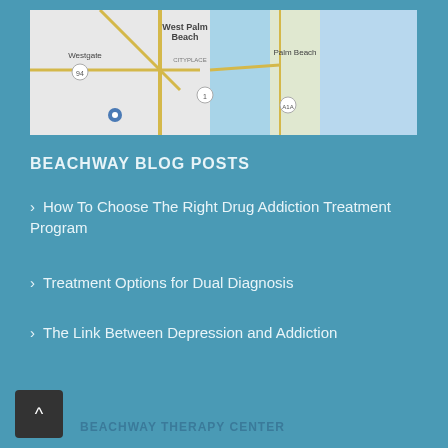[Figure (map): Map showing West Palm Beach and Palm Beach area with roads and water body visible. Labels include West Palm Beach, Palm Beach, Westgate, and route markers.]
BEACHWAY BLOG POSTS
How To Choose The Right Drug Addiction Treatment Program
Treatment Options for Dual Diagnosis
The Link Between Depression and Addiction
BEACHWAY THERAPY CENTER